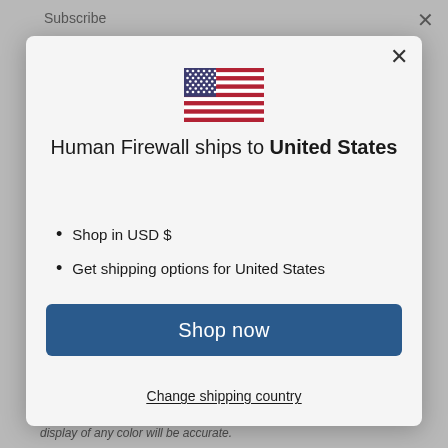Subscribe
[Figure (illustration): US flag emoji/icon centered in modal]
Human Firewall ships to United States
Shop in USD $
Get shipping options for United States
Shop now
Change shipping country
display of any color will be accurate.